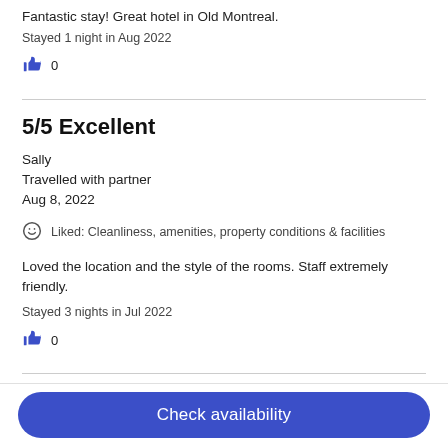Fantastic stay! Great hotel in Old Montreal.
Stayed 1 night in Aug 2022
0
5/5 Excellent
Sally
Travelled with partner
Aug 8, 2022
Liked: Cleanliness, amenities, property conditions & facilities
Loved the location and the style of the rooms. Staff extremely friendly.
Stayed 3 nights in Jul 2022
0
5/5 Excellent
Check availability